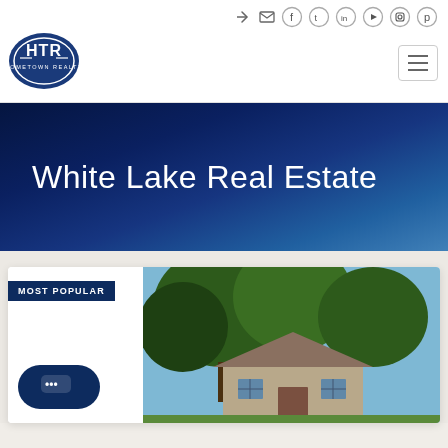[Figure (logo): HTR Hometown Realty circular blue logo with white text]
Social media icons: login, email, facebook, twitter, linkedin, youtube, instagram, pinterest
White Lake Real Estate
MOST POPULAR
[Figure (photo): Photo of a house with large trees in front, blue sky visible, residential property listing]